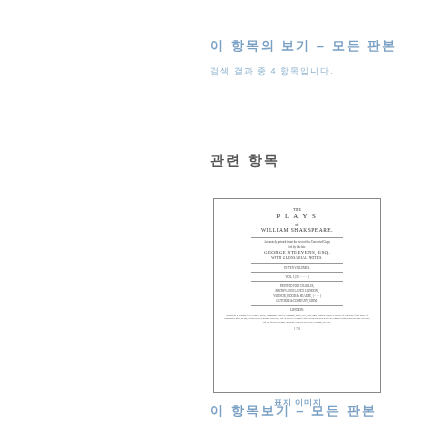이 항목의 보기 – 모든 판본
검색 결과 중 4 항목입니다.
관련 항목
[Figure (illustration): Title page of 'The Plays of William Shakspeare' edited by George Steevens with additional notes, printed in multiple volumes. Shows the title, author, editor, and London publisher information.]
표지 이미지
이 항목보기 – 모든 판본